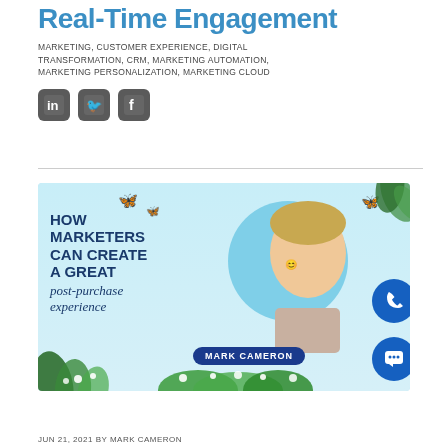Real-Time Engagement
MARKETING, CUSTOMER EXPERIENCE, DIGITAL TRANSFORMATION, CRM, MARKETING AUTOMATION, MARKETING PERSONALIZATION, MARKETING CLOUD
[Figure (infographic): Social media icons: LinkedIn, Twitter, Facebook]
[Figure (photo): Promotional article image: 'How Marketers Can Create a Great post-purchase experience' featuring Mark Cameron with butterflies, flowers, and foliage on a light blue background]
JUN 21, 2021 BY MARK CAMERON